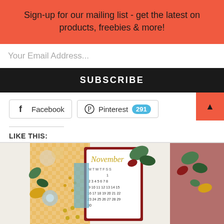Sign-up for our mailing list - get the latest on products, freebies & more!
Your Email Address...
SUBSCRIBE
Facebook
Pinterest 291
LIKE THIS:
Loading...
[Figure (photo): Decorative craft scrapbook page featuring a November calendar, floral and autumn leaf embellishments in gold, red, green, orange and yellow colors on a white background]